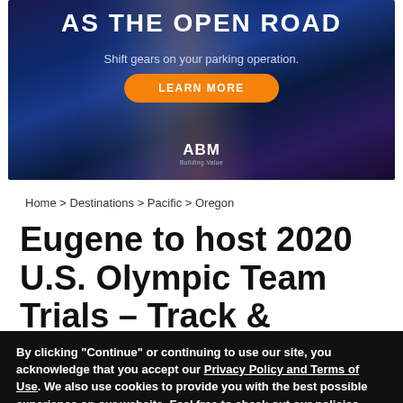[Figure (advertisement): ABM advertisement banner with dark blue background with light streaks. Large white bold text 'AS THE OPEN ROAD', subtitle 'Shift gears on your parking operation.', orange 'LEARN MORE' button, and ABM logo at bottom.]
Home > Destinations > Pacific > Oregon
Eugene to host 2020 U.S. Olympic Team Trials – Track &
By clicking "Continue" or continuing to use our site, you acknowledge that you accept our Privacy Policy and Terms of Use. We also use cookies to provide you with the best possible experience on our website. Feel free to check out our policies anytime for more information.
Continue